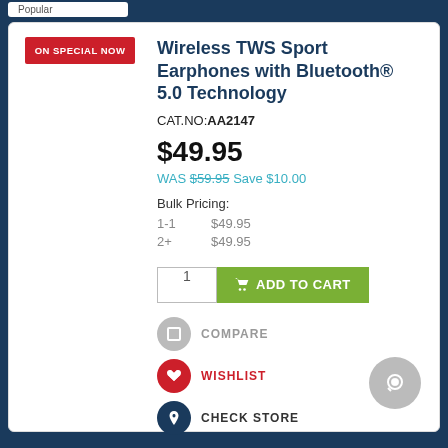Popular
[Figure (other): ON SPECIAL NOW red badge label]
Wireless TWS Sport Earphones with Bluetooth® 5.0 Technology
CAT.NO: AA2147
$49.95
WAS $59.95 Save $10.00
Bulk Pricing:
1-1    $49.95
2+    $49.95
1  ADD TO CART
COMPARE
WISHLIST
CHECK STORE